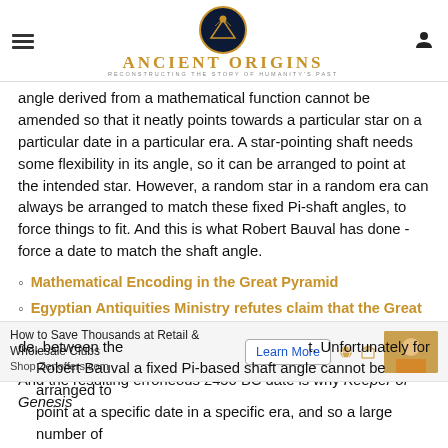Ancient Origins — Reconstructing the story of humanity's past
angle derived from a mathematical function cannot be amended so that it neatly points towards a particular star on a particular date in a particular era. A star-pointing shaft needs some flexibility in its angle, so it can be arranged to point at the intended star. However, a random star in a random era can always be arranged to match these fixed Pi-shaft angles, to force things to fit. And this is what Robert Bauval has done - force a date to match the shaft angle.
Mathematical Encoding in the Great Pyramid
Egyptian Antiquities Ministry refutes claim that the Great Pyramid is Much Older
But the methodology is in error, and so the results are wrong. And the resulting erroneous 2450 BC date is why Keeper of Genesis
de, between the t. Unfortunately for Robert Bauval a fixed Pi-based shaft angle cannot be arranged to point at a specific date in a specific era, and so a large number of